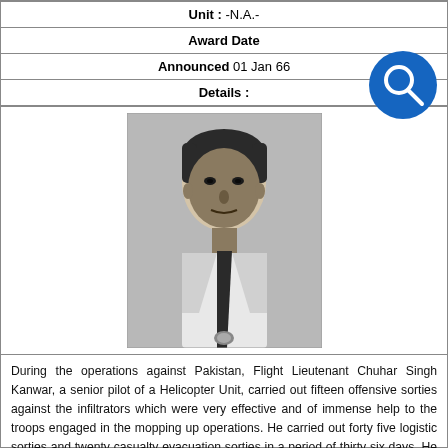| Unit : -N.A.- |
| Award Date |
| Announced 01 Jan 66 |
| Details : |
[Figure (photo): Black and white portrait photograph of Flight Lieutenant Chuhar Singh Kanwar in formal attire with tie and uniform badge]
During the operations against Pakistan, Flight Lieutenant Chuhar Singh Kanwar, a senior pilot of a Helicopter Unit, carried out fifteen offensive sorties against the infiltrators which were very effective and of immense help to the troops engaged in the mopping up operations. He carried out forty five logistic sorties and twenty casualty evacuation sorties in a period of thirty six days. He operated from quickly fabricated helipads, right behind the line of actual control and carried out four trial landings at these helipads. By evacuating casualties from the most forward areas, he saved many valuable lives. His supply missions were a life line for the troops fighting in difficult terrain. He operated from an airfield which was under constant threat of enemy air raids without warning.